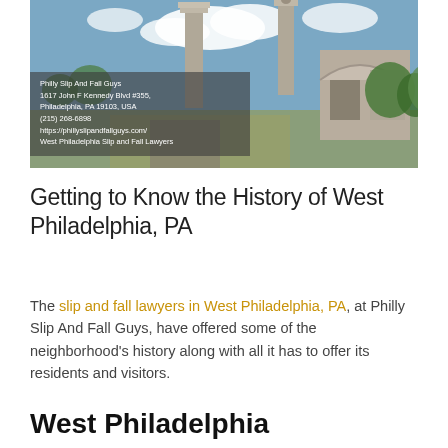[Figure (photo): Outdoor photo of Philadelphia monument/arch with columns and statues, blue sky with clouds. Overlaid semi-transparent box with business contact info: Philly Slip And Fall Guys, 1617 John F Kennedy Blvd #355, Philadelphia, PA 19103, USA, (215) 268-6898, https://phillyslipandfallguys.com/, West Philadelphia Slip and Fall Lawyers]
Getting to Know the History of West Philadelphia, PA
The slip and fall lawyers in West Philadelphia, PA, at Philly Slip And Fall Guys, have offered some of the neighborhood's history along with all it has to offer its residents and visitors.
West Philadelphia